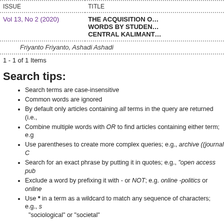| ISSUE | TITLE |
| --- | --- |
| Vol 13, No 2 (2020) | THE ACQUISITION O... WORDS BY STUDEN... CENTRAL KALIMANT... |
|  | Friyanto Friyanto, Ashadi Ashadi |
1 - 1 of 1 Items
Search tips:
Search terms are case-insensitive
Common words are ignored
By default only articles containing all terms in the query are returned (i.e.,
Combine multiple words with OR to find articles containing either term; e.g
Use parentheses to create more complex queries; e.g., archive ((journal C
Search for an exact phrase by putting it in quotes; e.g., "open access pub
Exclude a word by prefixing it with - or NOT; e.g. online -politics or online
Use * in a term as a wildcard to match any sequence of characters; e.g., s "sociological" or "societal"
Published by:
Department of Indonesian Language, Faculty of Languages and Literature, Univ Bahasa dan Sastra Indonesia (ADOBSI) and Ikatan Program Studi Pendidid
Address: Department of Indonesian Language Office, DG Building Second Flo Makassar, South Sulawesi, Indonesia